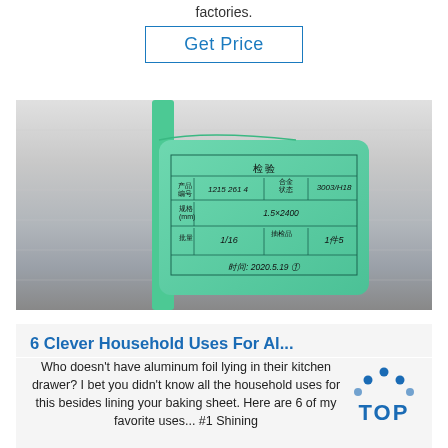factories.
Get Price
[Figure (photo): A green inspection tag attached to what appears to be a metallic roll/cylinder. The tag has handwritten Chinese text and a grid-form table with inspection data.]
6 Clever Household Uses For Al...
Who doesn't have aluminum foil lying in their kitchen drawer? I bet you didn't know all the household uses for this besides lining your baking sheet. Here are 6 of my favorite uses... #1 Shining